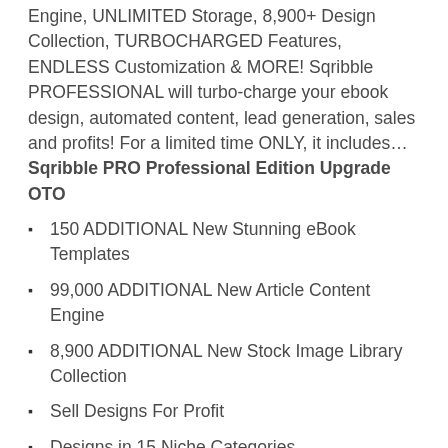Engine, UNLIMITED Storage, 8,900+ Design Collection, TURBOCHARGED Features, ENDLESS Customization & MORE! Sqribble PROFESSIONAL will turbo-charge your ebook design, automated content, lead generation, sales and profits! For a limited time ONLY, it includes… Sqribble PRO Professional Edition Upgrade OTO
150 ADDITIONAL New Stunning eBook Templates
99,000 ADDITIONAL New Article Content Engine
8,900 ADDITIONAL New Stock Image Library Collection
Sell Designs For Profit
Designs in 15 Niche Categories
Turbo-Charged Content Engine
900 New Page Design Layouts